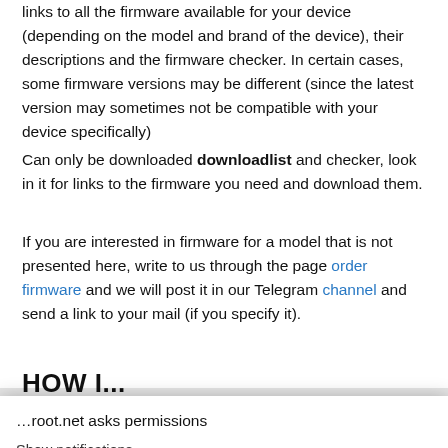links to all the firmware available for your device (depending on the model and brand of the device), their descriptions and the firmware checker. In certain cases, some firmware versions may be different (since the latest version may sometimes not be compatible with your device specifically)
Can only be downloaded downloadlist and checker, look in it for links to the firmware you need and download them.
If you are interested in firmware for a model that is not presented here, write to us through the page order firmware and we will post it in our Telegram channel and send a link to your mail (if you specify it).
HOW I...
...root.net asks permissions
Show notifications
BLOCK
ALLOW